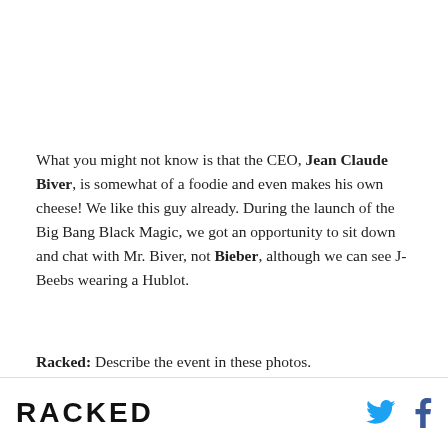What you might not know is that the CEO, Jean Claude Biver, is somewhat of a foodie and even makes his own cheese! We like this guy already. During the launch of the Big Bang Black Magic, we got an opportunity to sit down and chat with Mr. Biver, not Bieber, although we can see J-Beebs wearing a Hublot.
Racked: Describe the event in these photos.
RACKED [logo] [Twitter icon] [Facebook icon]